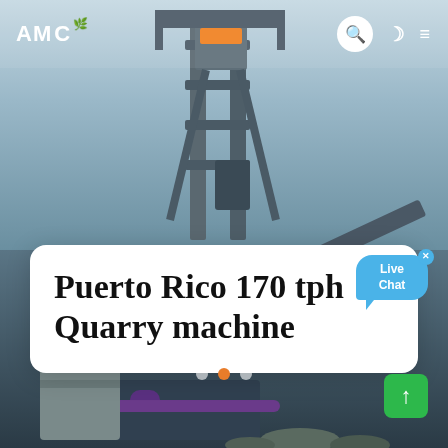[Figure (photo): Industrial quarry machine / conveyor equipment photographed from below against a light blue sky, with large metal structural frames and conveyor belts visible]
AMC
Puerto Rico 170 tph
Quarry machine
Live Chat